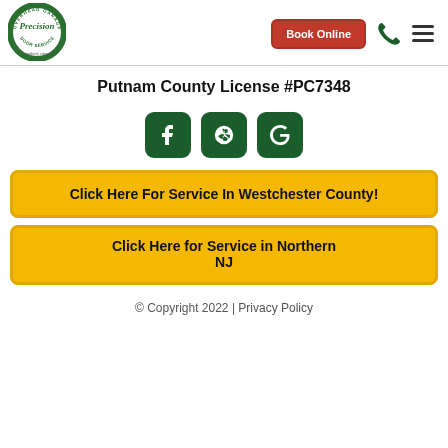[Figure (logo): Precision Overhead Garage Door Service logo — circular badge with green border, 'a Neighborly company' tagline below]
Book Online | Phone | Menu
Putnam County License #PC7348
[Figure (logo): Three social media icon buttons: Facebook (f), Yelp (*), Google (G) — all dark green rounded squares]
Click Here For Service In Westchester County!
Click Here for Service in Northern NJ
© Copyright 2022 | Privacy Policy